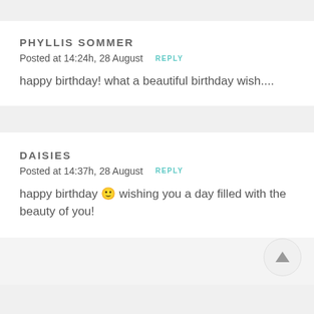PHYLLIS SOMMER
Posted at 14:24h, 28 August  REPLY
happy birthday! what a beautiful birthday wish....
DAISIES
Posted at 14:37h, 28 August  REPLY
happy birthday 🙂 wishing you a day filled with the beauty of you!